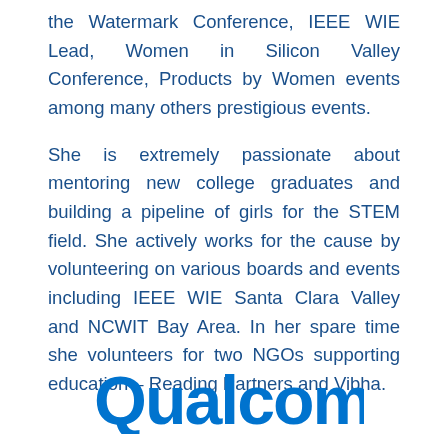the Watermark Conference, IEEE WIE Lead, Women in Silicon Valley Conference, Products by Women events among many others prestigious events.
She is extremely passionate about mentoring new college graduates and building a pipeline of girls for the STEM field. She actively works for the cause by volunteering on various boards and events including IEEE WIE Santa Clara Valley and NCWIT Bay Area. In her spare time she volunteers for two NGOs supporting education – Reading Partners and Vibha.
[Figure (logo): Qualcomm logo in blue]